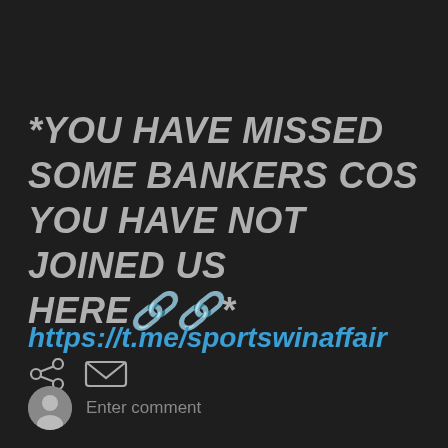*YOU HAVE MISSED SOME BANKERS COS YOU HAVE NOT JOINED US HERE🔗🔗*
https://t.me/sportswinaffair
[Figure (infographic): Share icon (three connected circles) and envelope/email icon in dark UI]
Enter comment